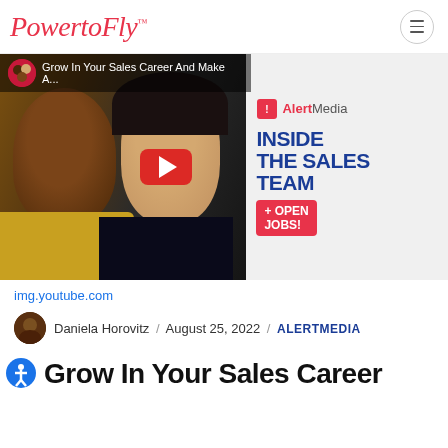PowerFly™
[Figure (screenshot): YouTube video thumbnail showing two women (one Black woman in yellow top, one Asian woman in dark top) with text overlay: 'Grow In Your Sales Career And Make A...' and AlertMedia logo with 'INSIDE THE SALES TEAM + OPEN JOBS!' text on the right side. A YouTube play button is overlaid in the center.]
img.youtube.com
Daniela Horovitz / August 25, 2022 / ALERTMEDIA
Grow In Your Sales Career